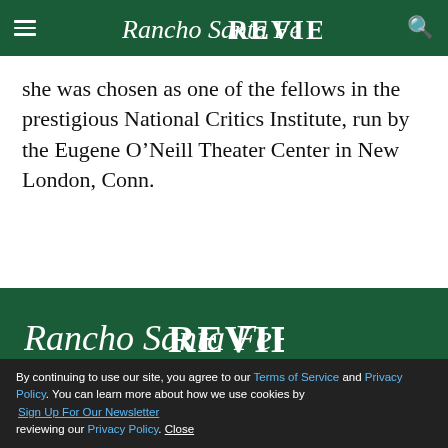Rancho Santa Fe Review — navigation header
she was chosen as one of the fellows in the prestigious National Critics Institute, run by the Eugene O'Neill Theater Center in New London, Conn.
[Figure (logo): Rancho Santa Fe Review logo in white on dark green footer background]
Privacy Policy
Editorial Policy
Sign Up For Our Newsletter
By continuing to use our site, you agree to our Terms of Service and Privacy Policy. You can learn more about how we use cookies by reviewing our Privacy Policy. Close